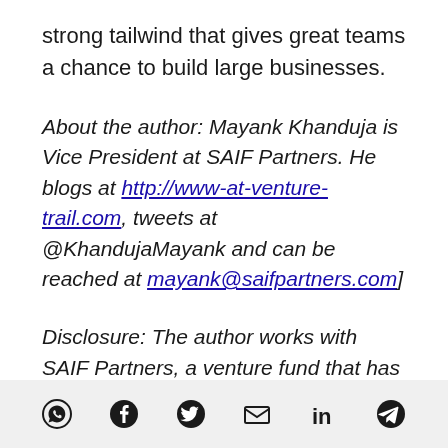strong tailwind that gives great teams a chance to build large businesses.
About the author: Mayank Khanduja is Vice President at SAIF Partners. He blogs at http://www-at-venture-trail.com, tweets at @KhandujaMayank and can be reached at mayank@saifpartners.com]
Disclosure: The author works with SAIF Partners, a venture fund that has invested in online test prep company Toppr.com.
[Figure (infographic): Social sharing icons row: WhatsApp, Facebook, Twitter, Email, LinkedIn, Telegram]